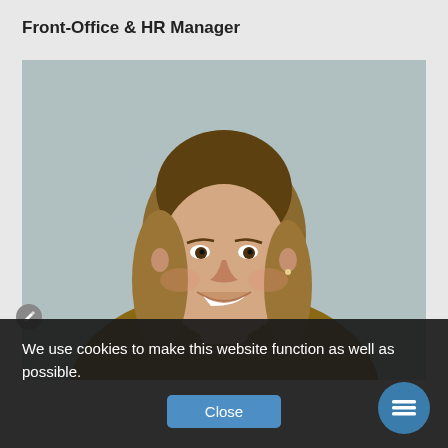Front-Office & HR Manager
[Figure (photo): Headshot of a smiling woman with shoulder-length blonde-brown hair, wearing a mustard yellow knit sweater, posed against a light gray textured wall background.]
We use cookies to make this website function as well as possible.